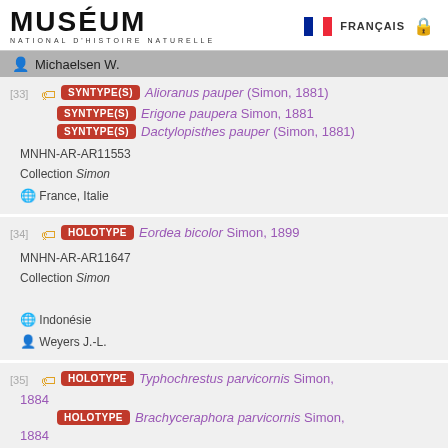MUSÉUM NATIONAL D'HISTOIRE NATURELLE — FRANÇAIS
Michaelsen W.
[33] SYNTYPE(S) Alioranus pauper (Simon, 1881) SYNTYPE(S) Erigone paupera Simon, 1881 SYNTYPE(S) Dactylopisthes pauper (Simon, 1881) MNHN-AR-AR11553 Collection Simon France, Italie
[34] HOLOTYPE Eordea bicolor Simon, 1899 MNHN-AR-AR11647 Collection Simon Indonésie Weyers J.-L.
[35] HOLOTYPE Typhochrestus parvicornis Simon, 1884 HOLOTYPE Brachyceraphora parvicornis Simon, 1884 MNHN-AR-AR11735 Collection Simon